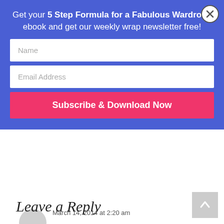Get your 5 Step Formula for a Fabulous Wardrobe ebook and get our weekly wrap newsletter free!
Name
Email Address
Subscribe & Download Now
March 14, 2014 at 2:20 am
Outstanding interview Debbie. Thank you Imogen.
Reply
Leave a Reply